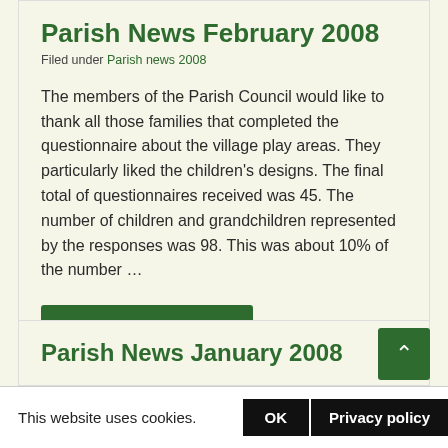Parish News February 2008
Filed under Parish news 2008
The members of the Parish Council would like to thank all those families that completed the questionnaire about the village play areas. They particularly liked the children's designs. The final total of questionnaires received was 45. The number of children and grandchildren represented by the responses was 98. This was about 10% of the number …
Continue reading
Parish News January 2008
This website uses cookies.
OK
Privacy policy